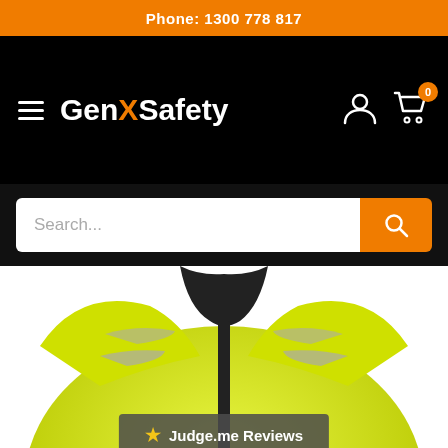Phone: 1300 778 817
[Figure (logo): GenX Safety logo with hamburger menu, user icon, and cart icon (0 items) on black background]
[Figure (screenshot): Search bar with placeholder text 'Search...' and orange search button]
[Figure (photo): Hi-visibility yellow safety jacket with black collar strip and reflective tape on shoulders, partially cropped]
★ Judge.me Reviews